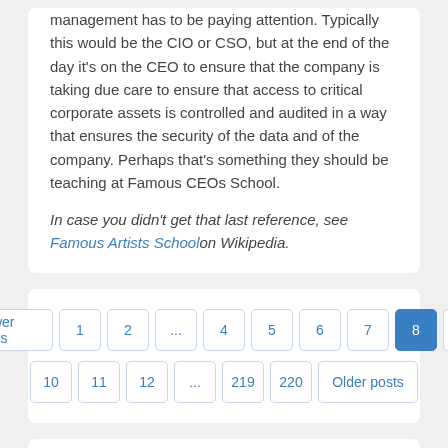management has to be paying attention. Typically this would be the CIO or CSO, but at the end of the day it's on the CEO to ensure that the company is taking due care to ensure that access to critical corporate assets is controlled and audited in a way that ensures the security of the data and of the company. Perhaps that's something they should be teaching at Famous CEOs School.
In case you didn't get that last reference, see Famous Artists School on Wikipedia.
Newer posts 1 2 ... 4 5 6 7 8 9 10 11 12 ... 219 220 Older posts
Enter search term or APML url  Search